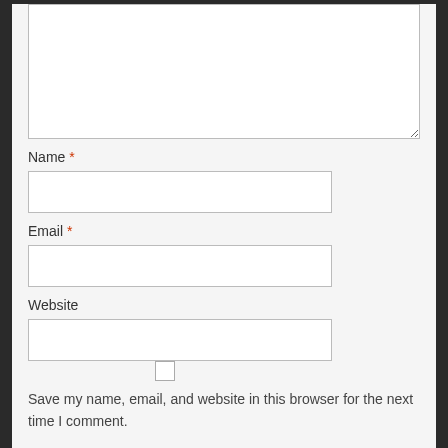[Figure (screenshot): Textarea input box (comment field), partially visible at top]
Name *
[Figure (screenshot): Name text input field]
Email *
[Figure (screenshot): Email text input field]
Website
[Figure (screenshot): Website text input field]
[Figure (screenshot): Checkbox (unchecked)]
Save my name, email, and website in this browser for the next time I comment.
Post Comment